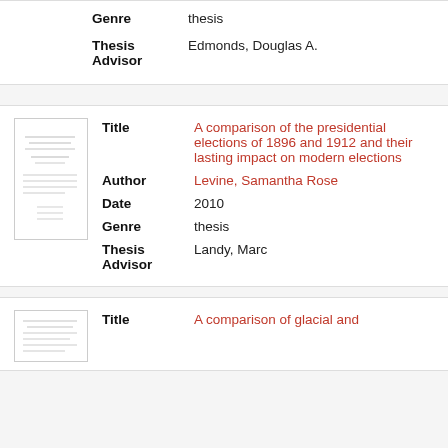| Field | Value |
| --- | --- |
| Genre | thesis |
| Thesis Advisor | Edmonds, Douglas A. |
[Figure (other): Thumbnail image of a thesis document cover page]
| Field | Value |
| --- | --- |
| Title | A comparison of the presidential elections of 1896 and 1912 and their lasting impact on modern elections |
| Author | Levine, Samantha Rose |
| Date | 2010 |
| Genre | thesis |
| Thesis Advisor | Landy, Marc |
[Figure (other): Thumbnail image of a thesis document cover page]
| Field | Value |
| --- | --- |
| Title | A comparison of glacial and |